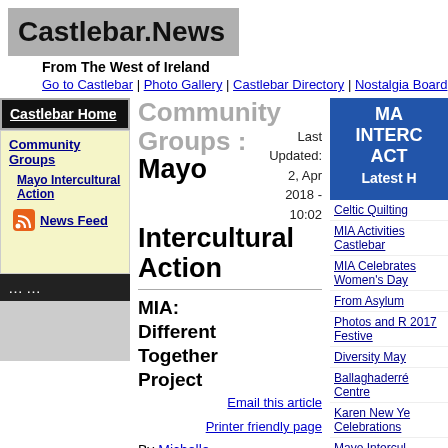Castlebar.News
From The West of Ireland
Go to Castlebar | Photo Gallery | Castlebar Directory | Nostalgia Board
Castlebar Home
Community Groups
Mayo Intercultural Action
News Feed
Community Groups : Mayo Intercultural Action
Last Updated: 2, Apr 2018 - 10:02
MIA: Different Together Project
Email this article
Printer friendly page
By Michelle Rooney
11, May 2011 - 14:52
Mayo Intercultural Action is
MA INTERC ACT Latest H
Celtic Quilting
MIA Activities Castlebar
MIA Celebrates Women's Day
From Asylum
Photos and R 2017 Festive
Diversity May
Ballaghaderré Centre
Karen New Ye Celebrations
Mayo Intercul Merger with S
Castlebar for Refugee Day
Ensuring a Ba Migration - A